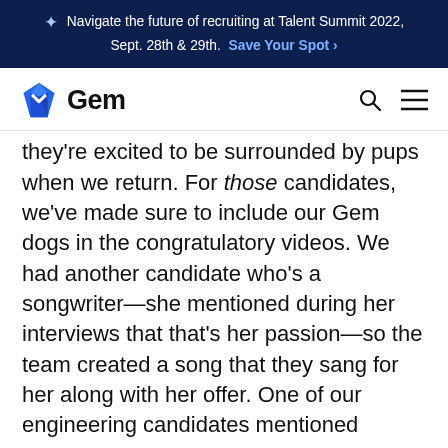Navigate the future of recruiting at Talent Summit 2022, Sept. 28th & 29th.  Save Your Spot ›
[Figure (logo): Gem logo — blue diamond shape with white chevron, followed by bold text 'Gem']
they're excited to be surrounded by pups when we return. For those candidates, we've made sure to include our Gem dogs in the congratulatory videos. We had another candidate who's a songwriter—she mentioned during her interviews that that's her passion—so the team created a song that they sang for her along with her offer. One of our engineering candidates mentioned